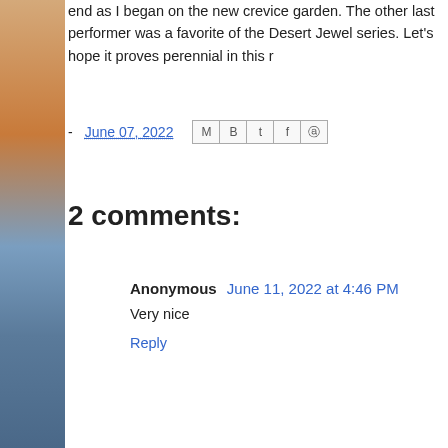end as I began on the new crevice garden. The other last performer was a favorite of the Desert Jewel series. Let's hope it proves perennial in this r
- June 07, 2022 [share icons: Email, Blog, Twitter, Facebook, Pinterest]
2 comments:
Anonymous  June 11, 2022 at 4:46 PM
Very nice
Reply
Ross Kouzes  June 13, 2022 at 10:43 PM
Panayoti, that new crevice garden up against the house is ama... scale of the rocks is just right for the space and I especially li... deck and leans up against the wall. You'll have to update us whe...
I love the Lewisia in the wall and the Salvia caespitosa. I mana... before it perished from neglect in the clay. I think it was someth... their doors. Such a lovely plant!
Reply